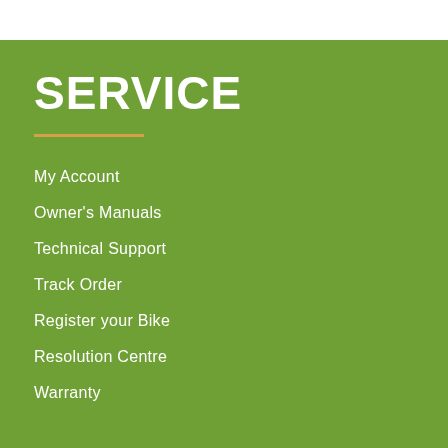SERVICE
My Account
Owner's Manuals
Technical Support
Track Order
Register your Bike
Resolution Centre
Warranty